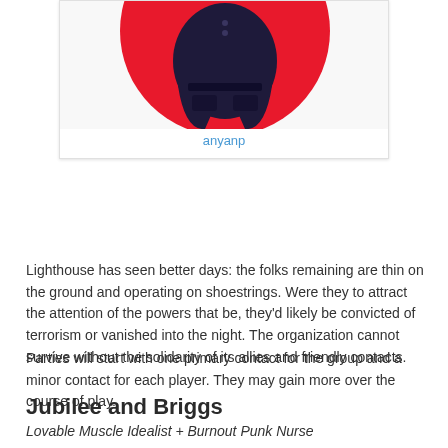[Figure (illustration): Card showing a stylized figure wearing dark navy shorts/skirt against a red circular background. Username 'anyanp' shown in blue below the image.]
Lighthouse has seen better days: the folks remaining are thin on the ground and operating on shoestrings. Were they to attract the attention of the powers that be, they'd likely be convicted of terrorism or vanished into the night. The organization cannot survive without the solidarity of its allies and friendly contacts.
Parties will start with one primary contact for the group and a minor contact for each player. They may gain more over the course of play.
Jubilee and Briggs
Lovable Muscle Idealist + Burnout Punk Nurse